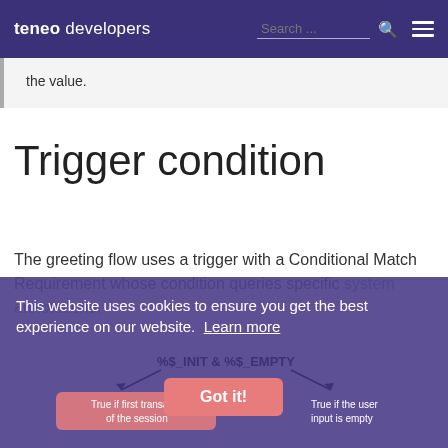teneo developers  Search ...
the value.
Trigger condition
The greeting flow uses a trigger with a Conditional Match Requirement whose condition queries specific system annotations:
This website uses cookies to ensure you get the best experience on our website. Learn more
[Figure (infographic): Annotation diagram showing %$_INIT & %$_EMPTY with arrows pointing to 'True if first transaction of the session' and 'True if the user input is empty']